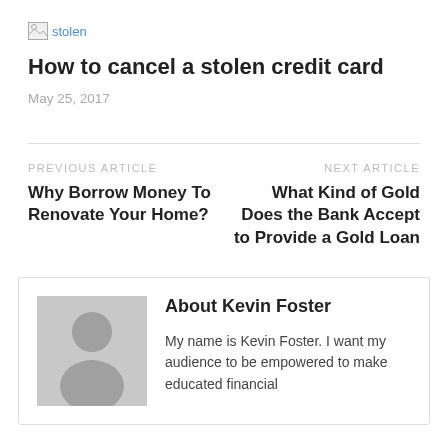[Figure (other): Broken image placeholder with alt text 'stolen']
How to cancel a stolen credit card
May 25, 2017
PREVIOUS ARTICLE
Why Borrow Money To Renovate Your Home?
NEXT ARTICLE
What Kind of Gold Does the Bank Accept to Provide a Gold Loan
About Kevin Foster
My name is Kevin Foster. I want my audience to be empowered to make educated financial